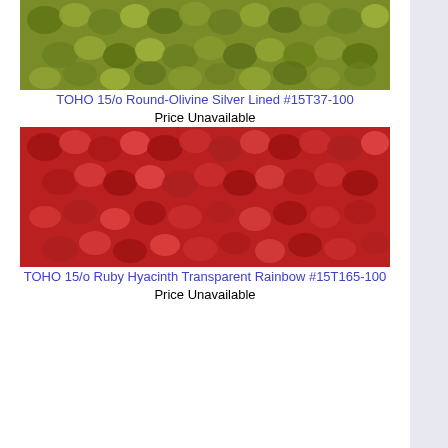[Figure (photo): Close-up photo of TOHO 15/o Round-Olivine Silver Lined seed beads, green/yellow-green color]
TOHO 15/o Round-Olivine Silver Lined #15T37-100
Price Unavailable
[Figure (photo): Close-up photo of TOHO 15/o Ruby Hyacinth Transparent Rainbow seed beads, red/ruby color]
TOHO 15/o Ruby Hyacinth Transparent Rainbow #15T165-100
Price Unavailable
[Figure (photo): Close-up photo of TOHO 15/o Round-Purple Lined Aqua seed beads, purple and blue color]
TOHO 15/o Round-Purple Lined Aqua #15T252-100
Price Unavailable
[Figure (photo): Close-up photo of TOHO 15/o Round-Light Purple Silver Lined seed beads, gray/purple color]
TOHO 15/o Round-Light Purple Silver Lined #15T39-100
Price Unavailable
[Figure (photo): Close-up photo of TOHO 15/o Round-Peach seed beads, peach/gold color]
TOHO 15/o Round-Peach